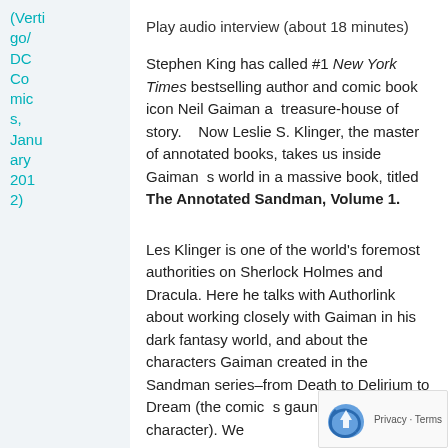(Vertigo/DC Comics, January 2012)
Play audio interview (about 18 minutes)
Stephen King has called #1 New York Times bestselling author and comic book icon Neil Gaiman a  treasure-house of story.   Now Leslie S. Klinger, the master of annotated books, takes us inside Gaiman  s world in a massive book, titled The Annotated Sandman, Volume 1.
[Figure (photo): Headshot photo of Leslie S. Klinger, an older man with white hair wearing a brown jacket]
Leslie S. Klinger, a fore...
Les Klinger is one of the world's foremost authorities on Sherlock Holmes and Dracula. Here he talks with Authorlink about working closely with Gaiman in his dark fantasy world, and about the characters Gaiman created in the Sandman series–from Death to Delirium to Dream (the comic  s gaunt, morose title character). We